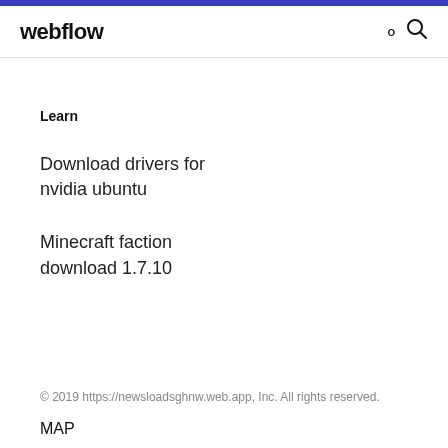webflow
Learn
Download drivers for nvidia ubuntu
Minecraft faction download 1.7.10
© 2019 https://newsloadsghnw.web.app, Inc. All rights reserved.
MAP